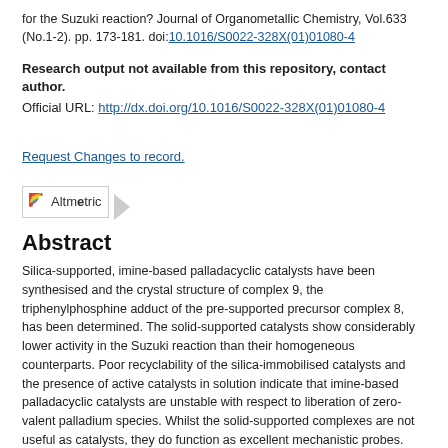for the Suzuki reaction? Journal of Organometallic Chemistry, Vol.633 (No.1-2). pp. 173-181. doi:10.1016/S0022-328X(01)01080-4
Research output not available from this repository, contact author.
Official URL: http://dx.doi.org/10.1016/S0022-328X(01)01080-4
Request Changes to record.
[Figure (logo): Altmetric badge/logo with rainbow icon and text 'Altmetric']
Abstract
Silica-supported, imine-based palladacyclic catalysts have been synthesised and the crystal structure of complex 9, the triphenylphosphine adduct of the pre-supported precursor complex 8, has been determined. The solid-supported catalysts show considerably lower activity in the Suzuki reaction than their homogeneous counterparts. Poor recyclability of the silica-immobilised catalysts and the presence of active catalysts in solution indicate that imine-based palladacyclic catalysts are unstable with respect to liberation of zero-valent palladium species. Whilst the solid-supported complexes are not useful as catalysts, they do function as excellent mechanistic probes. Studies on model complexes give further information on the processes that govern the liberation of zero-valent species — a tool for